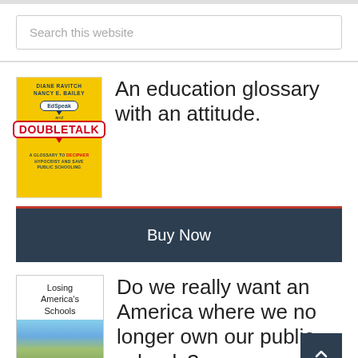Search this website
[Figure (illustration): Book cover: EdSpeak and Doubletalk by Diane Ravitch and Nancy E. Bailey. Yellow cover with speech bubble logo and red Doubletalk text.]
An education glossary with an attitude.
Buy Now
[Figure (illustration): Book cover: Losing America's Schools. White top with title text, bottom half shows a sky and building photo.]
Do we really want an America where we no longer own our public schools?